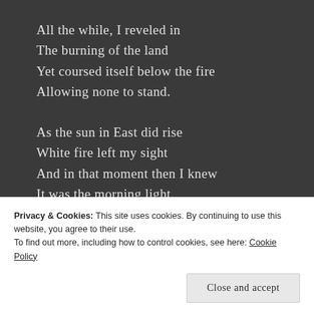All the while, I reveled in
The burning of the land
Yet coursed itself below the fire
Allowing none to stand.
As the sun in East did rise
White fire left my sight
And in that moment then I knew
It was the morning light.
###
My books are available here:
Privacy & Cookies: This site uses cookies. By continuing to use this website, you agree to their use.
To find out more, including how to control cookies, see here: Cookie Policy